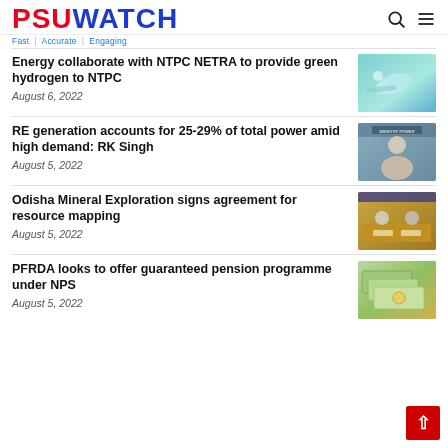PSUWATCH | Fast | Accurate | Engaging
Energy collaborate with NTPC NETRA to provide green hydrogen to NTPC
August 6, 2022
[Figure (photo): Green hydrogen technology image]
RE generation accounts for 25-29% of total power amid high demand: RK Singh
August 5, 2022
[Figure (photo): RK Singh at Ministry of Power]
Odisha Mineral Exploration signs agreement for resource mapping
August 5, 2022
[Figure (photo): Meeting/signing ceremony]
PFRDA looks to offer guaranteed pension programme under NPS
August 5, 2022
[Figure (photo): Indian currency notes]